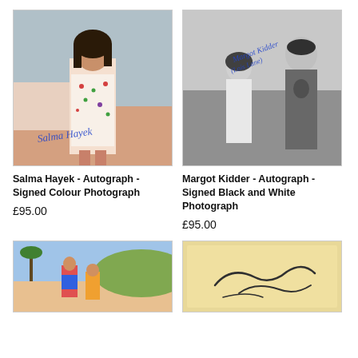[Figure (photo): Salma Hayek signed colour photograph - woman in floral dress with blue autograph signature]
[Figure (photo): Margot Kidder signed black and white photograph - woman and man (Superman) with blue autograph signature]
Salma Hayek - Autograph - Signed Colour Photograph
Margot Kidder - Autograph - Signed Black and White Photograph
£95.00
£95.00
[Figure (photo): Colour photograph of women on a beach/athletics track]
[Figure (photo): Aged paper with handwritten autograph signature]